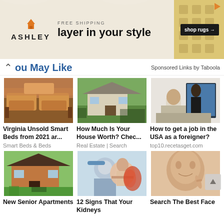[Figure (screenshot): Ashley Furniture ad banner with house logo, FREE SHIPPING text, 'layer in your style' tagline, shop rugs button, and geometric pattern]
You May Like
Sponsored Links by Taboola
[Figure (photo): Orange sectional sofa in a living room]
Virginia Unsold Smart Beds from 2021 ar...
Smart Beds & Beds
[Figure (photo): House exterior with yard]
How Much Is Your House Worth? Chec...
Real Estate | Search
[Figure (photo): Two people working at a computer monitor in an office]
How to get a job in the USA as a foreigner?
top10.recetasget.com
[Figure (photo): Small wooden cabin or lodge exterior]
New Senior Apartments
[Figure (photo): Medical professional in blue surgical cap with anatomical model]
12 Signs That Your Kidneys
[Figure (photo): Young woman touching her face, beauty/skincare]
Search The Best Face